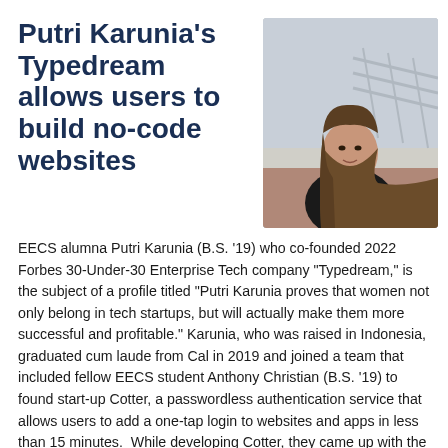Putri Karunia's Typedream allows users to build no-code websites
[Figure (photo): Portrait photo of Putri Karunia, a young woman with long brown hair wearing a black top, standing outdoors]
EECS alumna Putri Karunia (B.S. '19) who co-founded 2022 Forbes 30-Under-30 Enterprise Tech company "Typedream," is the subject of a profile titled "Putri Karunia proves that women not only belong in tech startups, but will actually make them more successful and profitable." Karunia, who was raised in Indonesia, graduated cum laude from Cal in 2019 and joined a team that included fellow EECS student Anthony Christian (B.S. '19) to found start-up Cotter, a passwordless authentication service that allows users to add a one-tap login to websites and apps in less than 15 minutes.  While developing Cotter, they came up with the idea for Typedream,